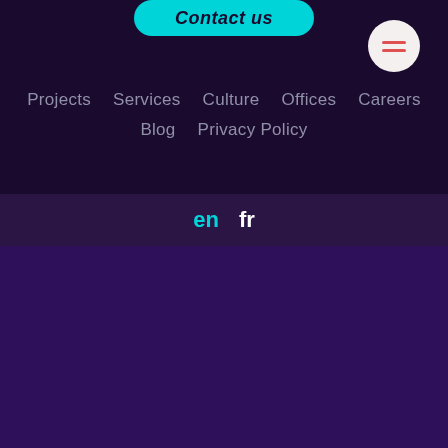[Figure (screenshot): Contact us button, teal/cyan pill-shaped button at top center]
[Figure (screenshot): Hamburger menu icon in white circle, top right, with orange/red lines]
Projects   Services   Culture   Offices   Careers
Blog   Privacy Policy
en   fr
We use cookies to ensure you have the best possible experience. If you click accept, you agree to this use. For more information, please see our privacy policy.
Accept